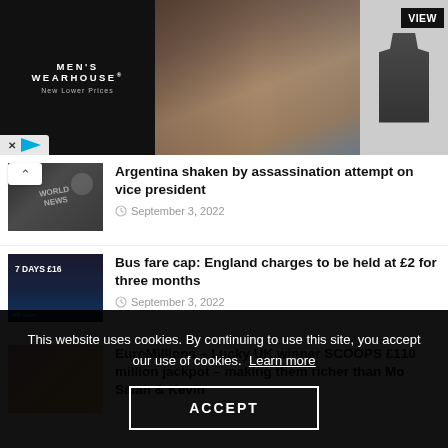[Figure (photo): Men's Wearhouse advertisement banner showing couple in formal wear and man in suit, with VIEW button]
Argentina shaken by assassination attempt on vice president — September 3, 2022
Bus fare cap: England charges to be held at £2 for three months — September 3, 2022
EuroMillions – Lucky UK winner SCOOPS £110 million jackpot – making them richer than Mo Salah & Kevin
This website uses cookies. By continuing to use this site, you accept our use of cookies. Learn more
ACCEPT